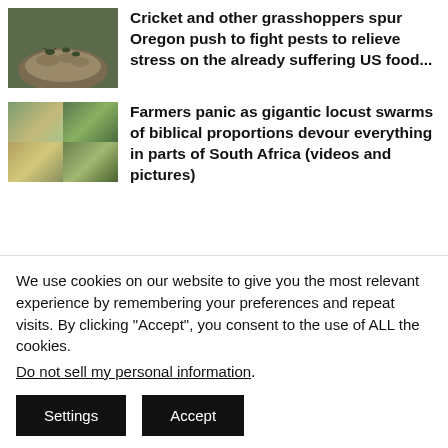[Figure (photo): Hand holding small insects/crickets]
Cricket and other grasshoppers spur Oregon push to fight pests to relieve stress on the already suffering US food...
[Figure (photo): Four-panel collage of locust swarm in South Africa landscape]
Farmers panic as gigantic locust swarms of biblical proportions devour everything in parts of South Africa (videos and pictures)
[Figure (photo): Partial image of map or terrain]
Ticks survive for 27 years in
We use cookies on our website to give you the most relevant experience by remembering your preferences and repeat visits. By clicking “Accept”, you consent to the use of ALL the cookies.
Do not sell my personal information.